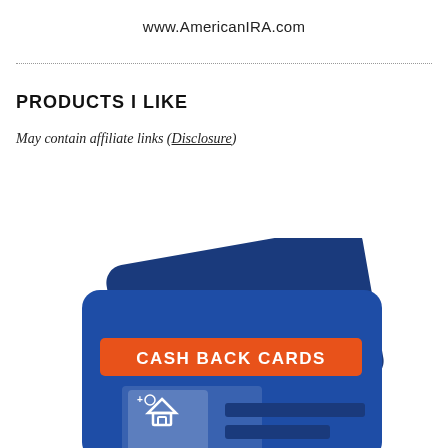www.AmericanIRA.com
PRODUCTS I LIKE
May contain affiliate links (Disclosure)
[Figure (illustration): Illustration of two dark blue credit/debit cards overlapping, with an orange banner reading 'CASH BACK CARDS' in white bold text, and a white icon showing a clipboard with a house symbol below the banner, along with two blue horizontal bars.]